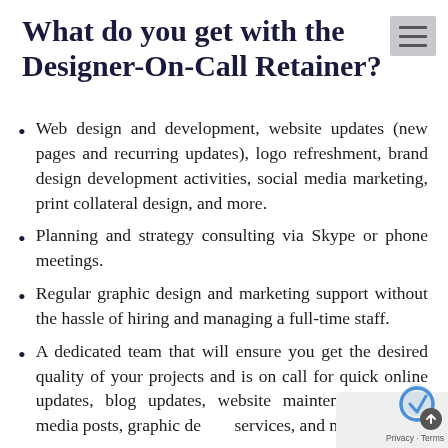What do you get with the Designer-On-Call Retainer?
Web design and development, website updates (new pages and recurring updates), logo refreshment, brand design development activities, social media marketing, print collateral design, and more.
Planning and strategy consulting via Skype or phone meetings.
Regular graphic design and marketing support without the hassle of hiring and managing a full-time staff.
A dedicated team that will ensure you get the desired quality of your projects and is on call for quick online updates, blog updates, website maintenance, social media posts, graphic design services, and more.